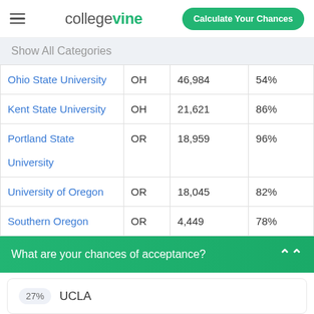collegevine | Calculate Your Chances
Show All Categories
| Ohio State University | OH | 46,984 | 54% |
| Kent State University | OH | 21,621 | 86% |
| Portland State University | OR | 18,959 | 96% |
| University of Oregon | OR | 18,045 | 82% |
| Southern Oregon | OR | 4,449 | 78% |
What are your chances of acceptance?
27% UCLA